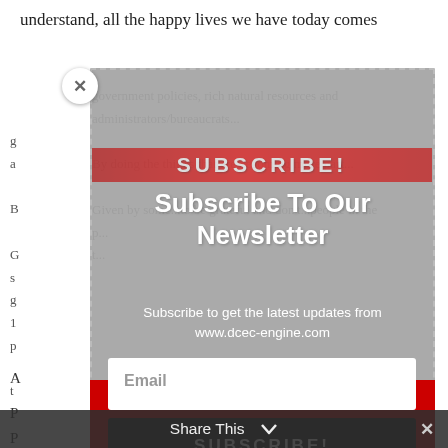understand, all the happy lives we have today comes
government policies, rich natural resources and
administrative officials...
By doing the things that are becoming more...
Given by some...to be grateful and don't...people in the p...t...
[Figure (screenshot): Newsletter subscription modal overlay on a webpage. The modal has a grey semi-transparent background with dashed border, a white close (X) button in the top-left corner, a red 'SUBSCRIBE!' banner across the top area, bold white text reading 'Subscribe To Our Newsletter', subtitle text 'Subscribe to get the latest updates from www.dcec-engine.com', a red wave decorative element, a white email input field labeled 'Email', a dark 'SUBSCRIBE!' button, and a 'Share This' bar at the bottom with a chevron/arrow and an X close button.]
A...
P...
P...
C...